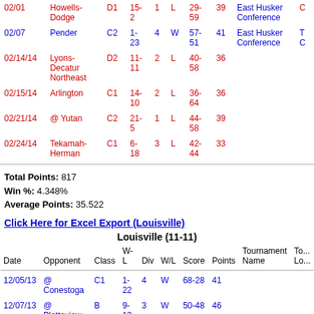| Date | Opponent | Class | W-L | Div | W/L | Score | Points | Tournament Name | Tournament Lo... |
| --- | --- | --- | --- | --- | --- | --- | --- | --- | --- |
| 02/01 | Howells-Dodge | D1 | 15-2 | 1 | L | 29-59 | 39 | East Husker Conference | C... |
| 02/07 | Pender | C2 | 1-23 | 4 | W | 57-51 | 41 | East Husker Conference | T... C... |
| 02/14/14 | Lyons-Decatur Northeast | D2 | 11-11 | 2 | L | 40-58 | 36 |  |  |
| 02/15/14 | Arlington | C1 | 14-10 | 2 | L | 36-64 | 36 |  |  |
| 02/21/14 | @ Yutan | C2 | 21-5 | 1 | L | 44-58 | 39 |  |  |
| 02/24/14 | Tekamah-Herman | C1 | 6-18 | 3 | L | 42-44 | 33 |  |  |
Total Points: 817
Win %: 4.348%
Average Points: 35.522
Click Here for Excel Export (Louisville)
Louisville (11-11)
| Date | Opponent | Class | W-L | Div | W/L | Score | Points | Tournament Name | Tournament Lo... |
| --- | --- | --- | --- | --- | --- | --- | --- | --- | --- |
| 12/05/13 | @ Conestoga | C1 | 1-22 | 4 | W | 68-28 | 41 |  |  |
| 12/07/13 | @ Platteview | B | 9-13 | 3 | W | 50-48 | 46 |  |  |
| 12/14/13 | Ashland-Greenwood | C1 | 14-9 | 2 | W | 63-46 | 47 |  |  |